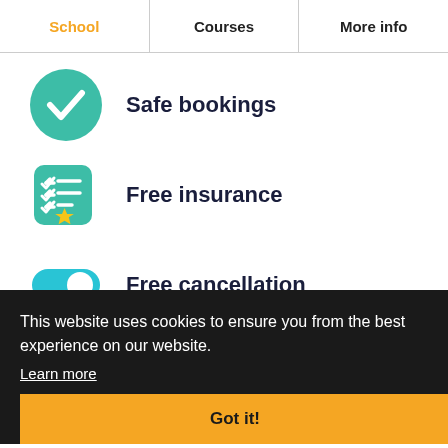School | Courses | More info
Safe bookings
Free insurance
Free cancellation
This website uses cookies to ensure you from the best experience on our website.
Learn more
Got it!
English at Gateway School of English
Including certificate
Including level check